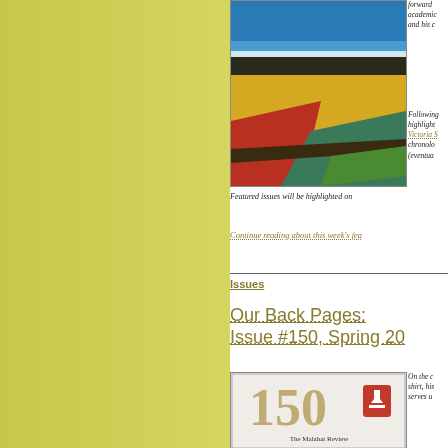[Figure (illustration): Colorful landscape painting with blue sky, yellow and red fields, green areas]
forward academic and his c
Following highlight Victoria S chronolo (eventua
Featured issues will be highlighted on
Continue reading about this week's fea
Issues
Our Back Pages: Issue #150, Spring 20
[Figure (illustration): Magazine cover of The Malahat Review Issue 150 with large number 150 and a red download icon]
On the c shirt, his serves u